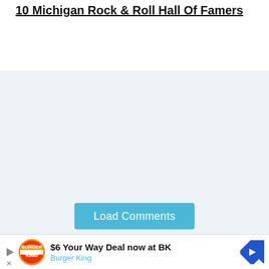10 Michigan Rock & Roll Hall Of Famers
[Figure (other): Large empty light blue-gray content area with a Load Comments button at the bottom]
Load Comments
[Figure (other): Burger King advertisement banner: $6 Your Way Deal now at BK with Burger King logo and navigation arrow]
$6 Your Way Deal now at BK
Burger King